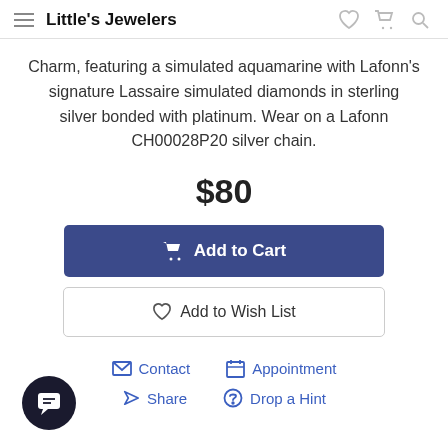Little's Jewelers
Charm, featuring a simulated aquamarine with Lafonn's signature Lassaire simulated diamonds in sterling silver bonded with platinum. Wear on a Lafonn CH00028P20 silver chain.
$80
Add to Cart
Add to Wish List
Contact   Appointment
Share   Drop a Hint